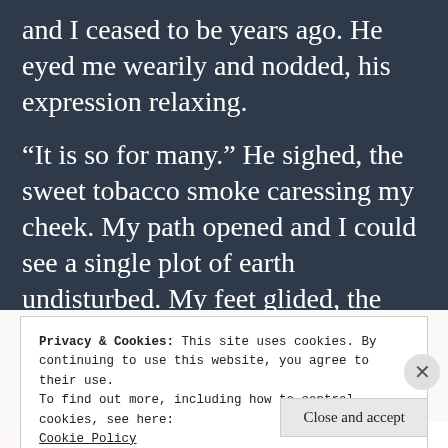and I ceased to be years ago. He eyed me wearily and nodded, his expression relaxing.
“It is so for many.” He sighed, the sweet tobacco smoke caressing my cheek. My path opened and I could see a single plot of earth undisturbed. My feet glided, the pain in my heart weighing down my steps, until I could barely move them. I
Privacy & Cookies: This site uses cookies. By continuing to use this website, you agree to their use.
To find out more, including how to control cookies, see here:
Cookie Policy
Close and accept